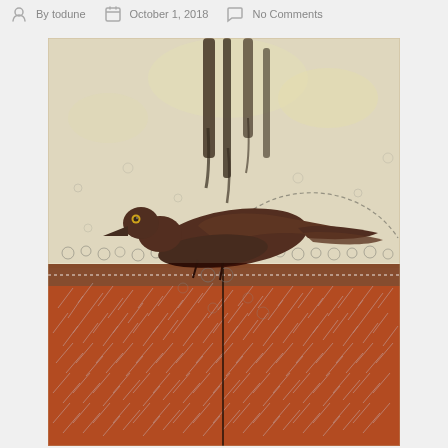By todune   October 1, 2018   No Comments
[Figure (illustration): A painting of a dark brown/rust-colored bird (resembling a crow or thrush) with a yellow eye, perched on a horizontal bar or wire. The upper half of the painting has a cream and white textured background with circular bubble-like patterns and dark vertical streaks resembling trees or smoke. The lower half has a rich rust/copper and white textured field with cross-hatching marks. A partial arc (halo or circle) appears behind the bird. The bird's body is stylized with hand-like wing shapes in dark brown.]